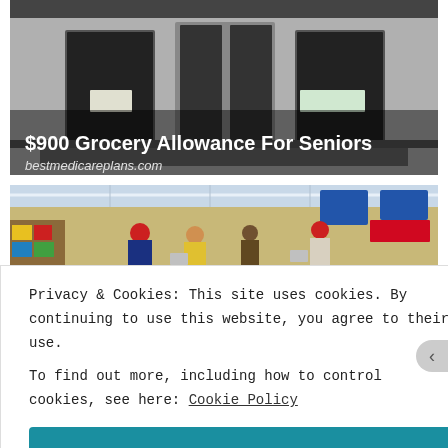[Figure (photo): Advertisement banner showing a building entrance with glass doors and railing, overlay text reading '$900 Grocery Allowance For Seniors' and 'bestmedicareplans.com']
[Figure (photo): Photo of a busy grocery store interior with shoppers and shopping carts in the aisles, colorful product displays visible]
Privacy & Cookies: This site uses cookies. By continuing to use this website, you agree to their use.
To find out more, including how to control cookies, see here: Cookie Policy
Close and accept